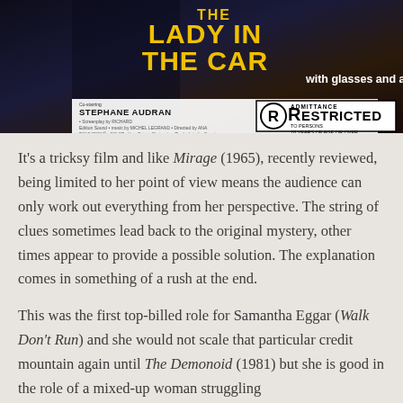[Figure (photo): Movie poster for 'The Lady in the Car with Glasses and a Gun' showing the stylized yellow title text on dark background, with Stephane Audran co-starring credit and an R-Restricted rating box in the bottom right corner.]
It’s a tricksy film and like Mirage (1965), recently reviewed, being limited to her point of view means the audience can only work out everything from her perspective. The string of clues sometimes lead back to the original mystery, other times appear to provide a possible solution. The explanation comes in something of a rush at the end.
This was the first top-billed role for Samantha Eggar (Walk Don’t Run) and she would not scale that particular credit mountain again until The Demonoid (1981) but she is good in the role of a mixed-up woman struggling